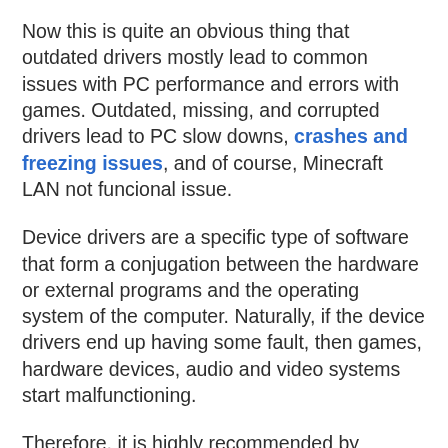Now this is quite an obvious thing that outdated drivers mostly lead to common issues with PC performance and errors with games. Outdated, missing, and corrupted drivers lead to PC slow downs, crashes and freezing issues, and of course, Minecraft LAN not funcional issue.
Device drivers are a specific type of software that form a conjugation between the hardware or external programs and the operating system of the computer. Naturally, if the device drivers end up having some fault, then games, hardware devices, audio and video systems start malfunctioning.
Therefore, it is highly recommended by experts to have the device drivers up-to-date all the time.
System drivers can be automatically updated by installing a third-party driver update software that can initiate scans to check the status of the existing drivers, and if it detects any out-of-date driver